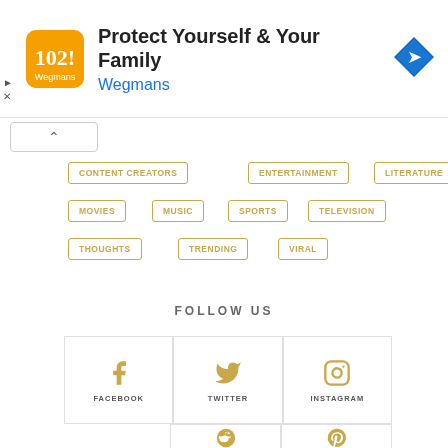[Figure (infographic): Advertisement banner: Wegmans logo, text 'Protect Yourself & Your Family', 'Wegmans', and a blue navigation arrow icon]
CONTENT CREATORS
ENTERTAINMENT
LITERATURE
MOVIES
MUSIC
SPORTS
TELEVISION
THOUGHTS
TRENDING
VIRAL
FOLLOW US
[Figure (infographic): Social media icons: Facebook, Twitter, Instagram, Reddit, Pinterest]
FACEBOOK
TWITTER
INSTAGRAM